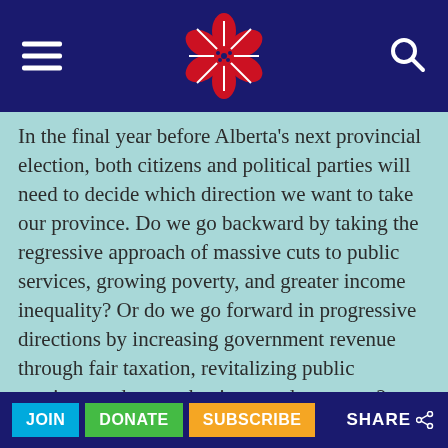[Figure (logo): Public Interest Alberta logo — red flower with white lines on dark navy navigation bar, with hamburger menu icon on left and search icon on right]
In the final year before Alberta's next provincial election, both citizens and political parties will need to decide which direction we want to take our province. Do we go backward by taking the regressive approach of massive cuts to public services, growing poverty, and greater income inequality? Or do we go forward in progressive directions by increasing government revenue through fair taxation, revitalizing public services, and strengthening our democracy?
Public Interest Alberta's 13th annual advocacy
JOIN  DONATE  SUBSCRIBE  SHARE